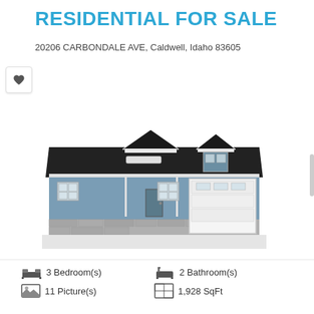RESIDENTIAL FOR SALE
20206 CARBONDALE AVE, Caldwell, Idaho 83605
[Figure (illustration): Front elevation rendering of a single-story ranch-style house with dark shingle roof, blue-gray siding, front gabled entry porch, two windows on left, front door, dormer window on roof right side, and attached two-car garage on right.]
3 Bedroom(s)
2 Bathroom(s)
11 Picture(s)
1,928 SqFt